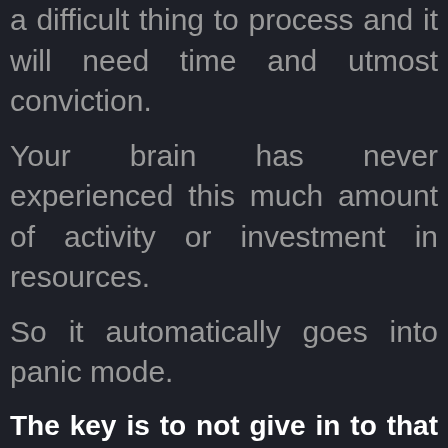a difficult thing to process and it will need time and utmost conviction.
Your brain has never experienced this much amount of activity or investment in resources.
So it automatically goes into panic mode.
The key is to not give in to that fear and stop the growth or the activity.
The right way to handle this is to consistently take your fears on